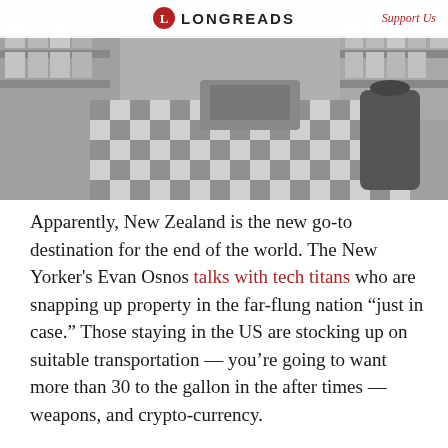[Figure (photo): Black and white photograph of what appears to be a store or market interior, with a table covered in a checkered/plaid tablecloth, and shelves with products visible in the background.]
L LONGREADS   Support Us
Apparently, New Zealand is the new go-to destination for the end of the world. The New Yorker's Evan Osnos talks with tech titans who are snapping up property in the far-flung nation “just in case.” Those staying in the US are stocking up on suitable transportation — you’re going to want more than 30 to the gallon in the after times — weapons, and crypto-currency.
Oh, pro tip? Stop putting off that Lasik surgery you’ve been thinking about; you’re not going to be able to get new glasses when the apocalypse hits.